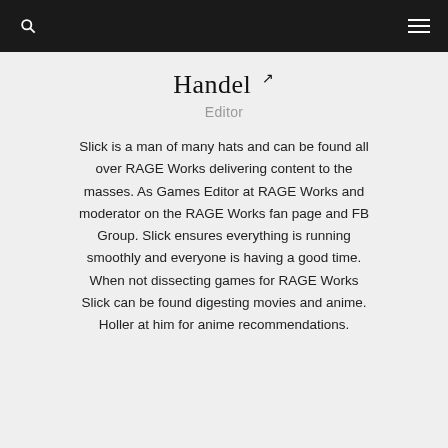Navigation bar with search icon and menu icon
Handel ↗
Editor
Slick is a man of many hats and can be found all over RAGE Works delivering content to the masses. As Games Editor at RAGE Works and moderator on the RAGE Works fan page and FB Group. Slick ensures everything is running smoothly and everyone is having a good time. When not dissecting games for RAGE Works Slick can be found digesting movies and anime. Holler at him for anime recommendations.
[Figure (infographic): Row of social media icons: Facebook, Patreon, Twitter, Instagram, YouTube]